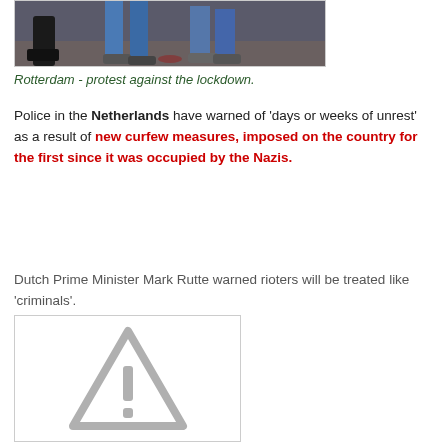[Figure (photo): Partial photo showing legs of people on a ground-level scene, protest in Rotterdam]
Rotterdam - protest against the lockdown.
Police in the Netherlands have warned of 'days or weeks of unrest' as a result of new curfew measures, imposed on the country for the first since it was occupied by the Nazis.
Dutch Prime Minister Mark Rutte warned rioters will be treated like 'criminals'.
[Figure (other): Broken image placeholder with warning triangle and exclamation mark]